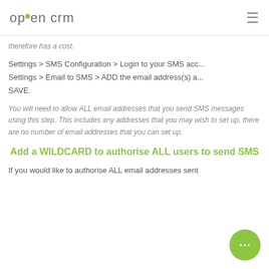OpenCRM [logo] ☰
therefore has a cost.
Settings > SMS Configuration > Login to your SMS acc...
Settings > Email to SMS > ADD the email address(s) a...
SAVE.
You will need to allow ALL email addresses that you send SMS messages using this step. This includes any addresses that you may wish to set up, there are no number of email addresses that you can set up.
Add a WILDCARD to authorise ALL users to send SMS
If you would like to authorise ALL email addresses sent